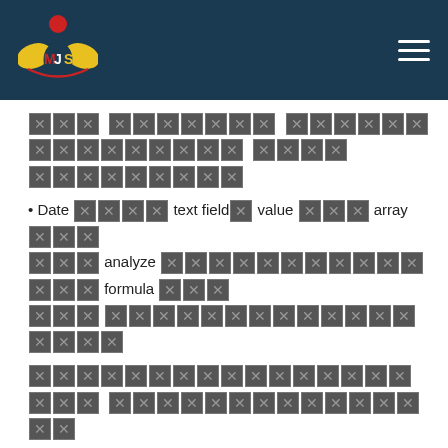MJS logo and navigation header
XXX XXXXXXX XXXXXXXXXXXXXXXX XXXX XXXXXXXXX
• Date XXXX text field value XXX array XXX XXX analyze XXXXXXXXXXXXXX formula XXX XXX XXXXXXXXXXXXXXXXXXXXXXX
XXXXXXXXXXXXXXXXXXXXXXX XXXXXXXXXXXXXXXXX
Excel XXX XXXXXXXXXXXX XXXXXXXXXXXXXXXXXXXX XXX XXXXXXXXXXXXXXXXXXXXXXXXXXXXXXX XXXXX XXX XXXXXXXXXXXXXXXXXXXXXXXXXXXXXXXX XXXXXXXXXXX XXXXXXXXXXXXXXXX XXXXXXXXXX XXXXX XXXXXXXXXXXXXXXXX dynamic
XXXXXXXX Excel XXX XXXXXXXXX XXXXXXXXXX XXXXXXXXX program XXXXXX dynamic